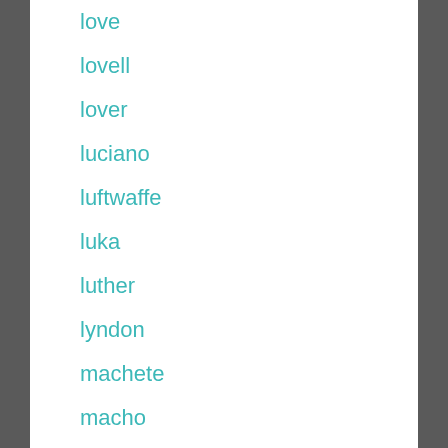love
lovell
lover
luciano
luftwaffe
luka
luther
lyndon
machete
macho
madonna
magic
major
malcolm